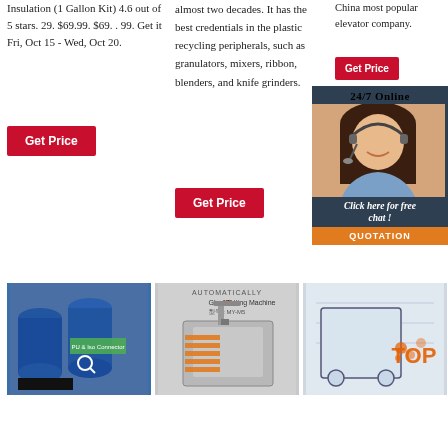Insulation (1 Gallon Kit) 4.6 out of 5 stars. 29. $69.99. $69. . 99. Get it Fri, Oct 15 - Wed, Oct 20.
Get Price
almost two decades. It has the best credentials in the plastic recycling peripherals, such as granulators, mixers, ribbon, blenders, and knife grinders.
Get Price
China most popular elevator company.
Get Price
24/7 Online
[Figure (photo): Customer service representative with headset smiling]
Click here for free chat !
QUOTATION
[Figure (photo): Blue industrial barrels/drums with Chinese text overlay]
[Figure (photo): Automatically AB Glue Potting Machine, model MY-M5]
[Figure (photo): Industrial machine with TOP text and orange splatter design]